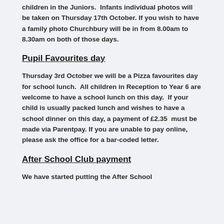children in the Juniors.  Infants individual photos will be taken on Thursday 17th October. If you wish to have a family photo Churchbury will be in from 8.00am to 8.30am on both of those days.
Pupil Favourites day
Thursday 3rd October we will be a Pizza favourites day for school lunch.  All children in Reception to Year 6 are welcome to have a school lunch on this day.  If your child is usually packed lunch and wishes to have a school dinner on this day, a payment of £2.35  must be made via Parentpay. If you are unable to pay online, please ask the office for a bar-coded letter.
After School Club payment
We have started putting the After School